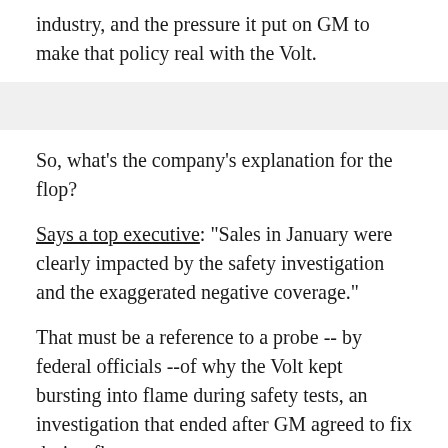industry, and the pressure it put on GM to make that policy real with the Volt.
So, what's the company's explanation for the flop?
Says a top executive: "Sales in January were clearly impacted by the safety investigation and the exaggerated negative coverage."
That must be a reference to a probe -- by federal officials --of why the Volt kept bursting into flame during safety tests, an investigation that ended after GM agreed to fix design flaws.
So, yes, that news might well have suppressed sales.